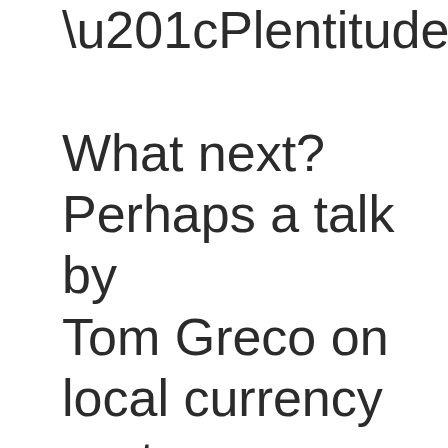“Plentitude.” What next? Perhaps a talk by Tom Greco on local currency systems, informing ourselves